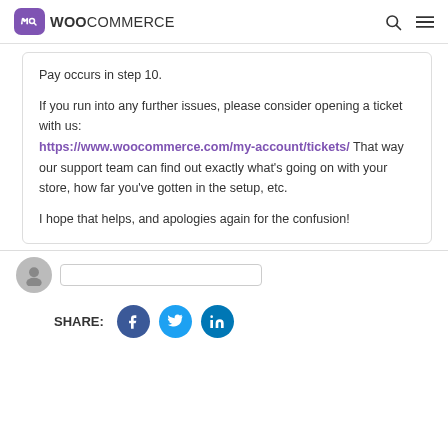WooCommerce
Pay occurs in step 10.

If you run into any further issues, please consider opening a ticket with us: https://www.woocommerce.com/my-account/tickets/ That way our support team can find out exactly what's going on with your store, how far you've gotten in the setup, etc.

I hope that helps, and apologies again for the confusion!
SHARE: